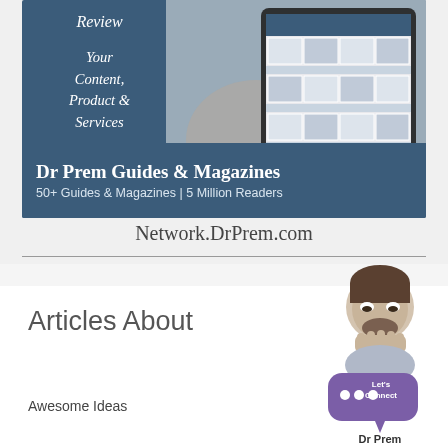[Figure (illustration): Dr Prem Guides & Magazines banner ad showing a hand holding a tablet with a grid of images, dark blue background with white text]
Network.DrPrem.com
Articles About
Awesome Ideas
[Figure (illustration): Dr Prem avatar with purple speech bubble saying Let's Connect and Dr Prem label below]